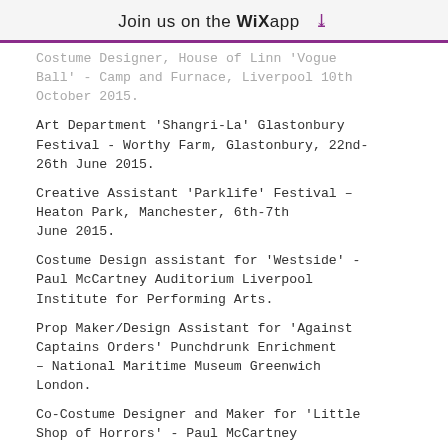Join us on the WiX app ↓
Costume Designer, House of Linn 'Vogue Ball' - Camp and Furnace, Liverpool 10th October 2015.
Art Department 'Shangri-La' Glastonbury Festival - Worthy Farm, Glastonbury, 22nd-26th June 2015.
Creative Assistant 'Parklife' Festival – Heaton Park, Manchester, 6th-7th June 2015.
Costume Design assistant for 'Westside' - Paul McCartney Auditorium Liverpool Institute for Performing Arts.
Prop Maker/Design Assistant for 'Against Captains Orders' Punchdrunk Enrichment – National Maritime Museum Greenwich London.
Co-Costume Designer and Maker for 'Little Shop of Horrors' - Paul McCartney Auditorium Liverpool Institute for...